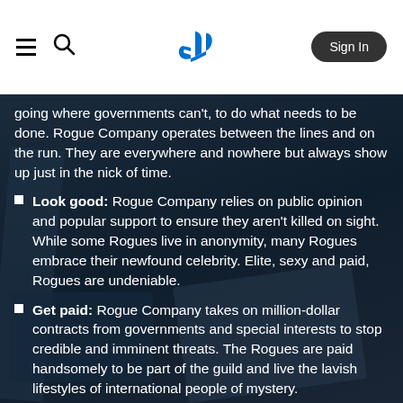PlayStation navigation header with hamburger menu, search icon, PlayStation logo, and Sign In button
going where governments can't, to do what needs to be done. Rogue Company operates between the lines and on the run. They are everywhere and nowhere but always show up just in the nick of time.
Look good: Rogue Company relies on public opinion and popular support to ensure they aren't killed on sight. While some Rogues live in anonymity, many Rogues embrace their newfound celebrity. Elite, sexy and paid, Rogues are undeniable.
Get paid: Rogue Company takes on million-dollar contracts from governments and special interests to stop credible and imminent threats. The Rogues are paid handsomely to be part of the guild and live the lavish lifestyles of international people of mystery.